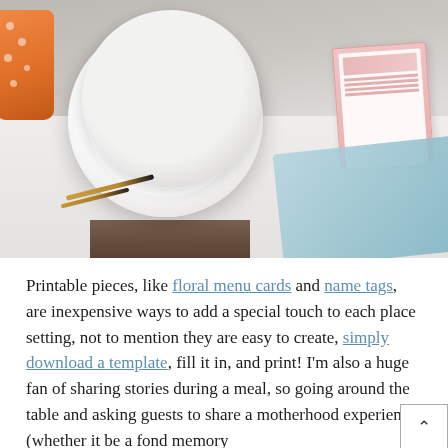[Figure (photo): A table setting photograph showing white charger plates stacked, a name tag card reading 'Colleen', a pink floral menu card, gold cutlery, a light blue cloth napkin, and an orange polka-dot vase or cup on the left edge. White chairs visible in background.]
Printable pieces, like floral menu cards and name tags, are inexpensive ways to add a special touch to each place setting, not to mention they are easy to create, simply download a template, fill it in, and print! I'm also a huge fan of sharing stories during a meal, so going around the table and asking guests to share a motherhood experience (whether it be a fond memory